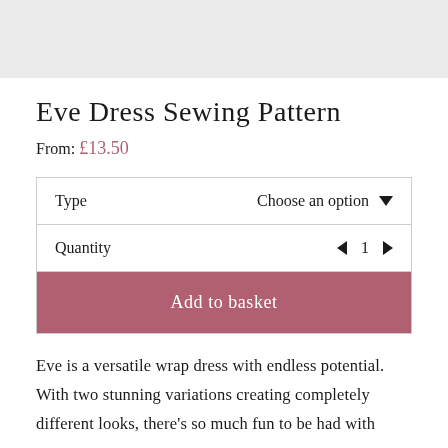Eve Dress Sewing Pattern
From: £13.50
| Type | Choose an option ▼ |
| --- | --- |
| Quantity | ◄ 1 ► |
Add to basket
Eve is a versatile wrap dress with endless potential. With two stunning variations creating completely different looks, there's so much fun to be had with